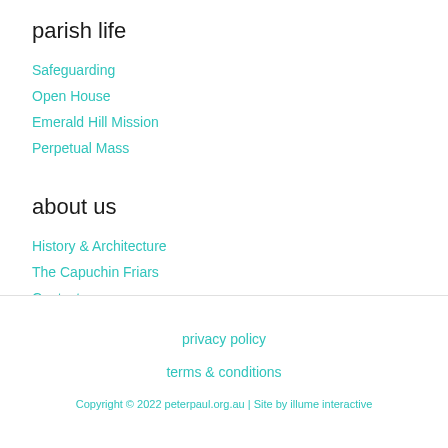parish life
Safeguarding
Open House
Emerald Hill Mission
Perpetual Mass
about us
History & Architecture
The Capuchin Friars
Contact
privacy policy
terms & conditions
Copyright © 2022 peterpaul.org.au | Site by illume interactive